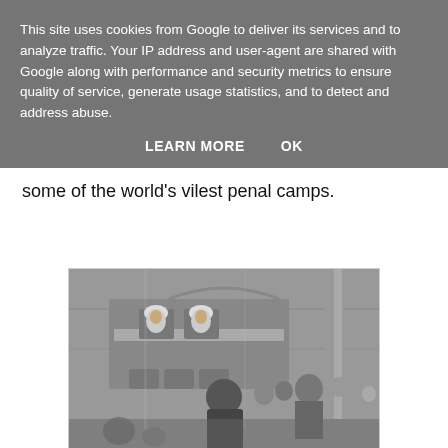This site uses cookies from Google to deliver its services and to analyze traffic. Your IP address and user-agent are shared with Google along with performance and security metrics to ensure quality of service, generate usage statistics, and to detect and address abuse.
LEARN MORE    OK
some of the world's vilest penal camps.
[Figure (illustration): Black and white illustration of a courtroom scene. Two wigged judges sit at an elevated bench. A crowd of people stand in the courtroom. A figure stands facing the bench with their back to the viewer.]